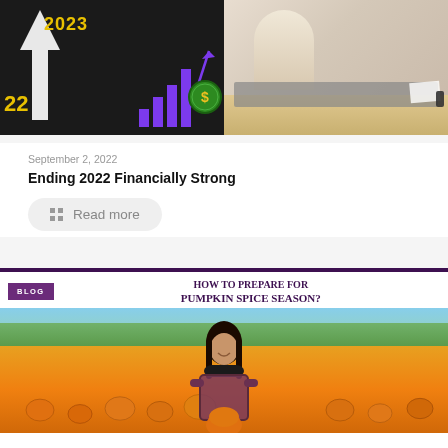[Figure (photo): Blog post featured image showing 2022 to 2023 concept with road markings, purple bar chart with rising arrow and dollar coin, and person working at laptop]
September 2, 2022
Ending 2022 Financially Strong
Read more
[Figure (photo): Blog post card with purple header border, BLOG label badge, title 'HOW TO PREPARE FOR PUMPKIN SPICE SEASON?', and photo of woman smiling in a pumpkin patch field holding a pumpkin]